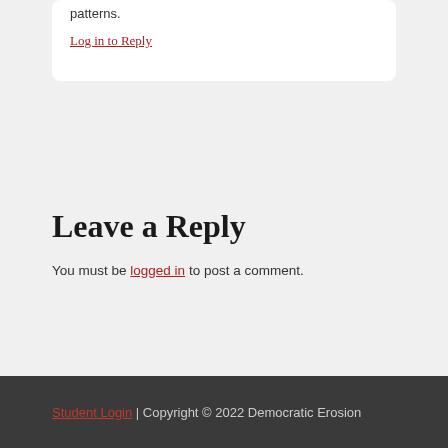patterns.
Log in to Reply
Leave a Reply
You must be logged in to post a comment.
Student Login | Copyright © 2022 Democratic Erosion